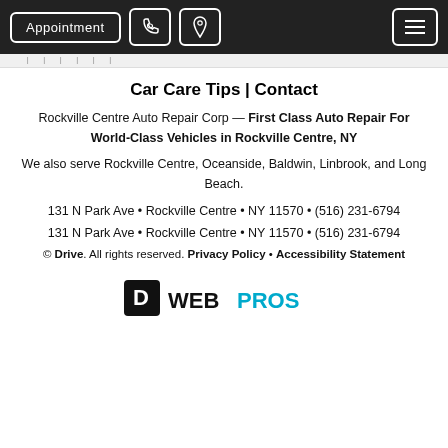Appointment | [phone icon] | [location icon] | [menu icon]
Car Care Tips | Contact
Rockville Centre Auto Repair Corp — First Class Auto Repair For World-Class Vehicles in Rockville Centre, NY
We also serve Rockville Centre, Oceanside, Baldwin, Linbrook, and Long Beach.
131 N Park Ave • Rockville Centre • NY 11570 • (516) 231-6794
131 N Park Ave • Rockville Centre • NY 11570 • (516) 231-6794
© Drive. All rights reserved. Privacy Policy • Accessibility Statement
[Figure (logo): WebPros logo with a square icon and stylized text 'WEBPROS' in black and blue]